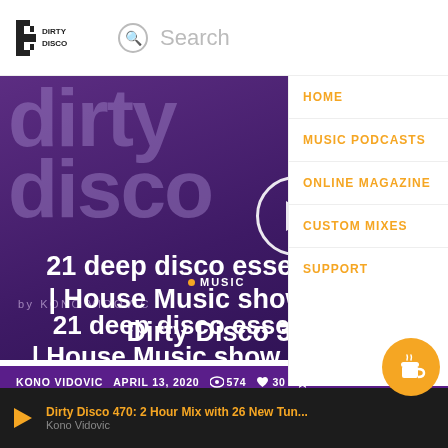Dirty Disco — Search
[Figure (screenshot): Dirty Disco website screenshot showing navigation with HOME, MUSIC PODCASTS, ONLINE MAGAZINE, CUSTOM MIXES, SUPPORT menu items and a hero image of the Dirty Disco logo on purple background with play button]
21 deep disco essentials f... | House Music show | Essential Mix | Dirty Disco 351
KONO VIDOVIC   APRIL 13, 2020   👁 574   ♥ 30   ★ 5
Dirty Disco 470: 2 Hour Mix with 26 New Tun... Kono Vidovic